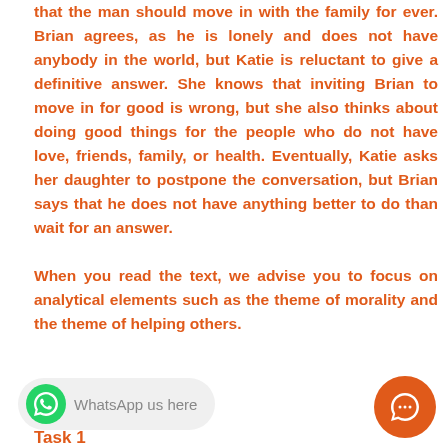that the man should move in with the family for ever. Brian agrees, as he is lonely and does not have anybody in the world, but Katie is reluctant to give a definitive answer. She knows that inviting Brian to move in for good is wrong, but she also thinks about doing good things for the people who do not have love, friends, family, or health. Eventually, Katie asks her daughter to postpone the conversation, but Brian says that he does not have anything better to do than wait for an answer.

When you read the text, we advise you to focus on analytical elements such as the theme of morality and the theme of helping others.
[Figure (other): WhatsApp chat widget with green WhatsApp logo and text 'WhatsApp us here' on a light grey pill-shaped background]
[Figure (other): Orange circular chat bubble button in bottom right corner]
Task 1